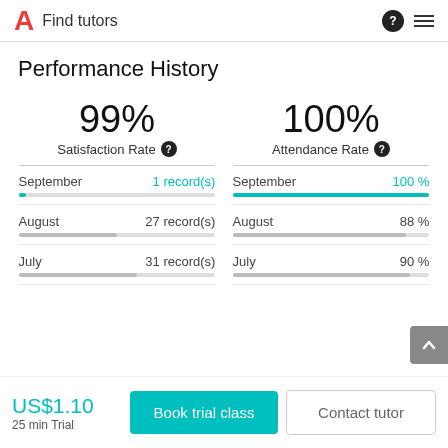A Find tutors
Performance History
99% Satisfaction Rate
100% Attendance Rate
September  1 record(s)
August  27 record(s)
July  31 record(s)
September  100 %
August  88 %
July  90 %
US$1.10
25 min Trial
Book trial class
Contact tutor